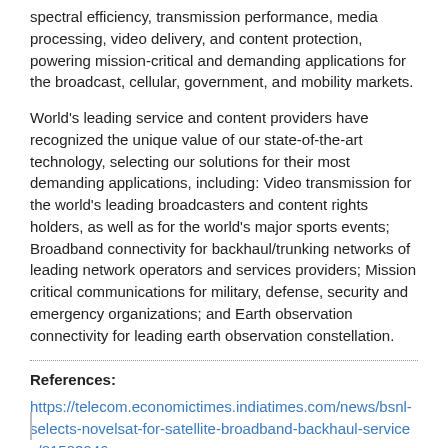spectral efficiency, transmission performance, media processing, video delivery, and content protection, powering mission-critical and demanding applications for the broadcast, cellular, government, and mobility markets.
World's leading service and content providers have recognized the unique value of our state-of-the-art technology, selecting our solutions for their most demanding applications, including: Video transmission for the world's leading broadcasters and content rights holders, as well as for the world's major sports events; Broadband connectivity for backhaul/trunking networks of leading network operators and services providers; Mission critical communications for military, defense, security and emergency organizations; and Earth observation connectivity for leading earth observation constellation.
References:
https://telecom.economictimes.indiatimes.com/news/bsnl-selects-novelsat-for-satellite-broadband-backhaul-services/81583946